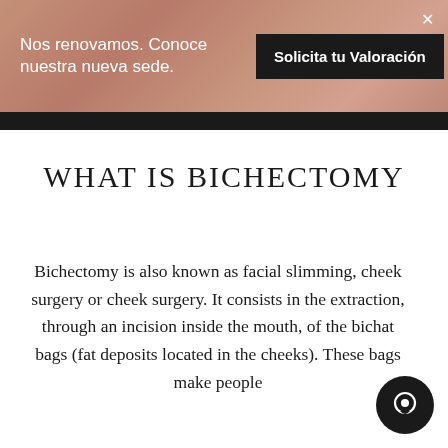Nos renovamos. Conoce nuestra nueva sede.
Solicita tu Valoración
WHAT IS BICHECTOMY
Bichectomy is also known as facial slimming, cheek surgery or cheek surgery. It consists in the extraction, through an incision inside the mouth, of the bichat bags (fat deposits located in the cheeks). These bags make people